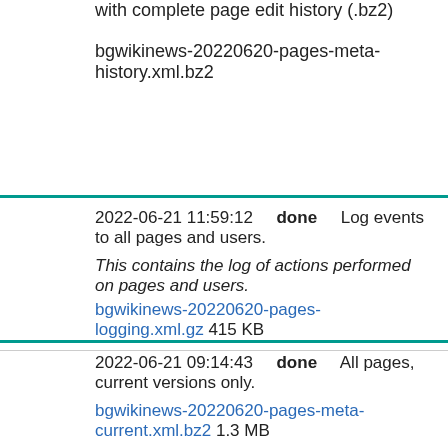with complete page edit history (.bz2)

bgwikinews-20220620-pages-meta-history.xml.bz2
2022-06-21 11:59:12    done    Log events to all pages and users.

This contains the log of actions performed on pages and users.
bgwikinews-20220620-pages-logging.xml.gz 415 KB
2022-06-21 09:14:43    done    All pages, current versions only.

bgwikinews-20220620-pages-meta-current.xml.bz2 1.3 MB